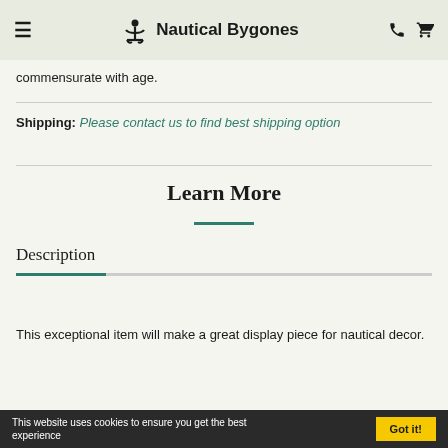Nautical Bygones
commensurate with age.
Shipping: Please contact us to find best shipping option
Learn More
Description
This exceptional item will make a great display piece for nautical decor.
This website uses cookies to ensure you get the best experience